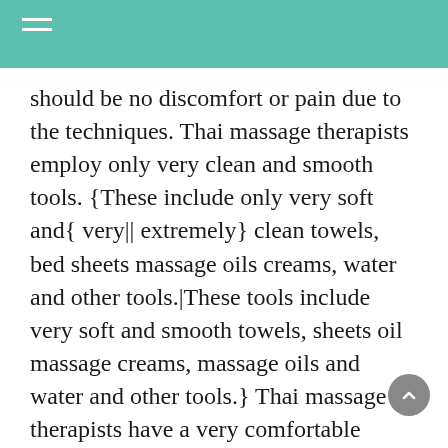should be no discomfort or pain due to the techniques. Thai massage therapists employ only very clean and smooth tools. {These include only very soft and{ very|| extremely} clean towels, bed sheets massage oils creams, water and other tools.|These tools include very soft and smooth towels, sheets oil massage creams, massage oils and water and other tools.} Thai massage therapists have a very comfortable posture when they are asked to lie down on the floor. Most Thai massage therapists are required to keep the position of a standing while treating clients.